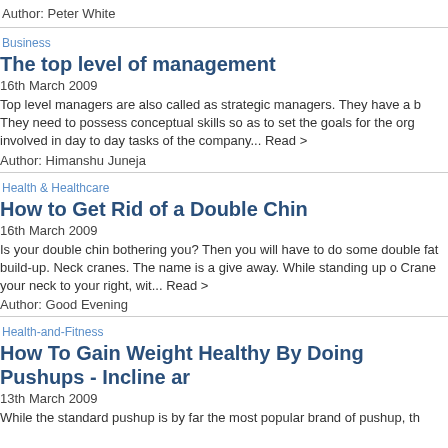Author: Peter White
Business
The top level of management
16th March 2009
Top level managers are also called as strategic managers. They have a b They need to possess conceptual skills so as to set the goals for the org involved in day to day tasks of the company... Read >
Author: Himanshu Juneja
Health & Healthcare
How to Get Rid of a Double Chin
16th March 2009
Is your double chin bothering you? Then you will have to do some double fat build-up. Neck cranes. The name is a give away. While standing up o Crane your neck to your right, wit... Read >
Author: Good Evening
Health-and-Fitness
How To Gain Weight Healthy By Doing Pushups - Incline ar
13th March 2009
While the standard pushup is by far the most popular brand of pushup, th